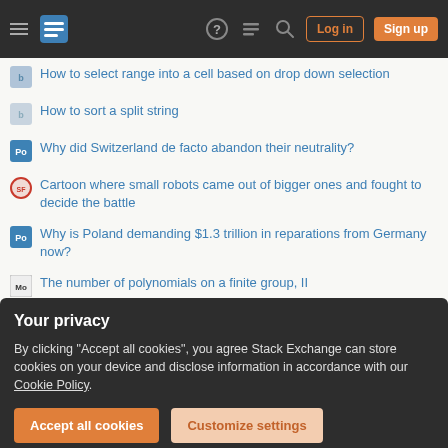Stack Exchange navigation bar with logo, Log in, Sign up buttons
How to select range into a cell based on drop down selection
How to sort a split string
Why did Switzerland de facto abandon their neutrality?
Cartoon where small robots came out of bigger ones and fought to decide the battle
Why is Poland demanding $1.3 trillion in reparations from Germany now?
The number of polynomials on a finite group, II
TikZ drawing with Geometry package
Why the charge enclosed by a metallic conductive sphere is zero?
Your privacy
By clicking "Accept all cookies", you agree Stack Exchange can store cookies on your device and disclose information in accordance with our Cookie Policy.
Accept all cookies | Customize settings
outputs 1.68 MHz